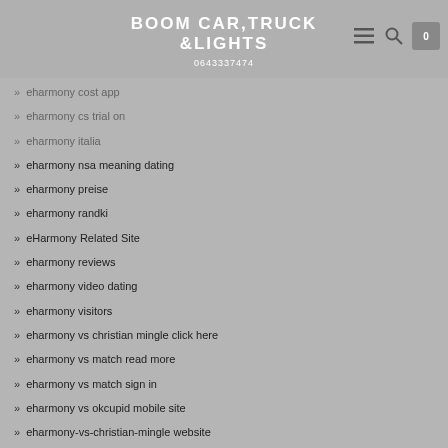BOOM CAR,TRUCK &LIGHTS
0643337474
eharmony cost app
eharmony cs trial on
eharmony italia
eharmony nsa meaning dating
eharmony preise
eharmony randki
eHarmony Related Site
eharmony reviews
eharmony video dating
eharmony visitors
eharmony vs christian mingle click here
eharmony vs match read more
eharmony vs match sign in
eharmony vs okcupid mobile site
eharmony-vs-christian-mingle website